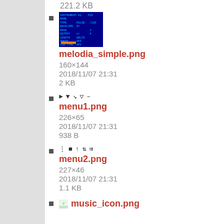221.2 KB
melodia_simple.png
160×144
2018/11/07 21:31
2 KB
menu1.png
226×65
2018/11/07 21:31
938 B
menu2.png
227×46
2018/11/07 21:31
1.1 KB
music_icon.png